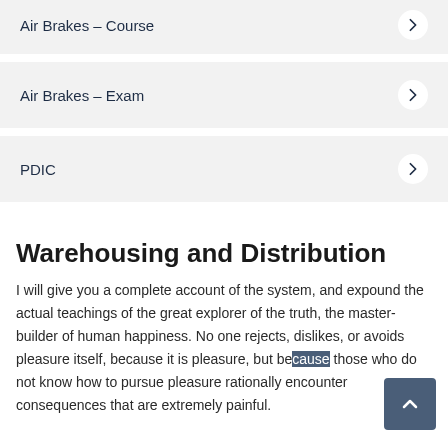Air Brakes – Course
Air Brakes – Exam
PDIC
Warehousing and Distribution
I will give you a complete account of the system, and expound the actual teachings of the great explorer of the truth, the master-builder of human happiness. No one rejects, dislikes, or avoids pleasure itself, because it is pleasure, but because those who do not know how to pursue pleasure rationally encounter consequences that are extremely painful.